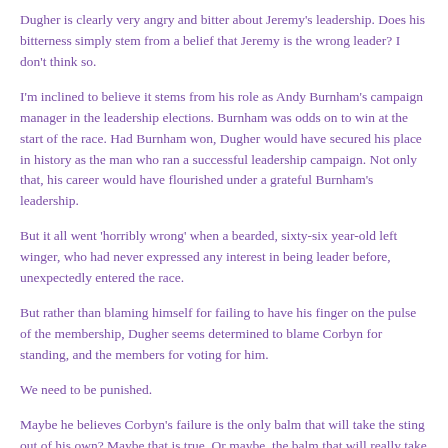Dugher is clearly very angry and bitter about Jeremy's leadership. Does his bitterness simply stem from a belief that Jeremy is the wrong leader? I don't think so.
I'm inclined to believe it stems from his role as Andy Burnham's campaign manager in the leadership elections. Burnham was odds on to win at the start of the race. Had Burnham won, Dugher would have secured his place in history as the man who ran a successful leadership campaign. Not only that, his career would have flourished under a grateful Burnham's leadership.
But it all went 'horribly wrong' when a bearded, sixty-six year-old left winger, who had never expressed any interest in being leader before, unexpectedly entered the race.
But rather than blaming himself for failing to have his finger on the pulse of the membership, Dugher seems determined to blame Corbyn for standing, and the members for voting for him.
We need to be punished.
Maybe he believes Corbyn's failure is the only balm that will take the sting out of his own? Maybe that is true. Or maybe, the balm that will really take the sting out of his 'failure,' is if he turned his fire on the Tories and helped us